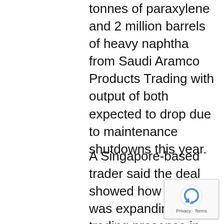tonnes of paraxylene and 2 million barrels of heavy naphtha from Saudi Aramco Products Trading with output of both expected to drop due to maintenance shutdowns this year.
A Singapore-based trader said the deal showed how Aramco was expanding its trading presence in Asia, while another industry source said the firm may set up a trading office in the island state.
Aramco, which used to sell most of its own naphtha from the Middle Eastern refineries on a free on board (FOB) basis, has become a key spot seller of naphtha and is now exporting diesel from its new joint venture refineries in